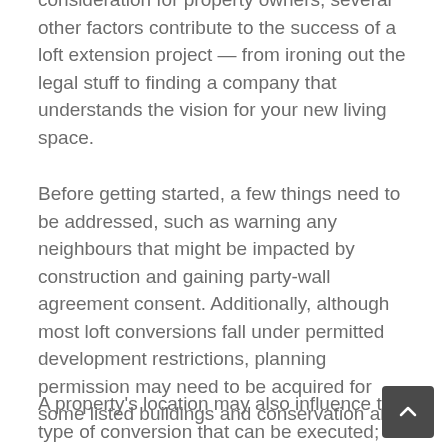consideration for property owners, several other factors contribute to the success of a loft extension project — from ironing out the legal stuff to finding a company that understands the vision for your new living space.
Before getting started, a few things need to be addressed, such as warning any neighbours that might be impacted by construction and gaining party-wall agreement consent. Additionally, although most loft conversions fall under permitted development restrictions, planning permission may need to be acquired for some listed buildings and conservation areas.
A property's location may also influence the type of conversion that can be executed; for example, in certain areas of London and the Home Counties, planning officers tend to favour a Mansard conversion design over a rear dormer conversion.